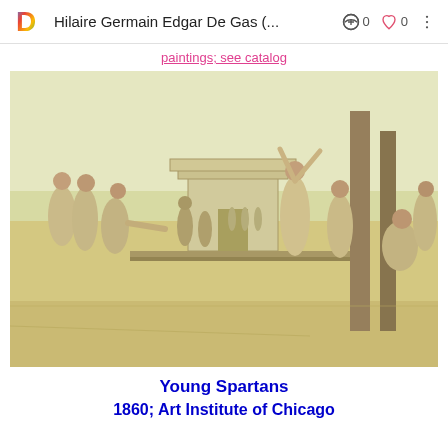Hilaire Germain Edgar De Gas (...
paintings; see catalog
[Figure (photo): A painting titled 'Young Spartans' by Hilaire Germain Edgar De Gas (Degas), dated 1860, held at the Art Institute of Chicago. The scene depicts young Spartan men and women exercising and interacting in an open landscape, with a classical temple-like structure in the background. The palette is muted yellowish-green and cream tones, rendered in a sketch-like style.]
Young Spartans
1860; Art Institute of Chicago